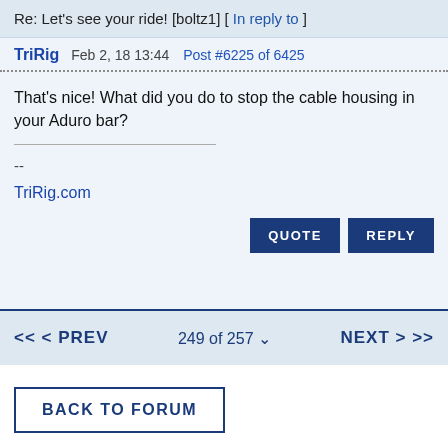Re: Let's see your ride! [boltz1] [ In reply to ]
TriRig  Feb 2, 18 13:44  Post #6225 of 6425
That's nice! What did you do to stop the cable housing in your Aduro bar?

--
TriRig.com
QUOTE  REPLY
<< < PREV  249 of 257  NEXT > >>
BACK TO FORUM